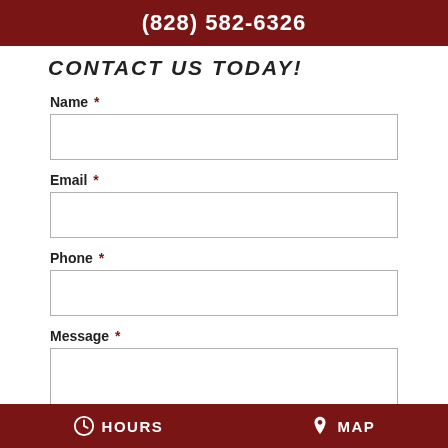(828) 582-6326
CONTACT US TODAY!
Name *
Email *
Phone *
Message *
HOURS   MAP